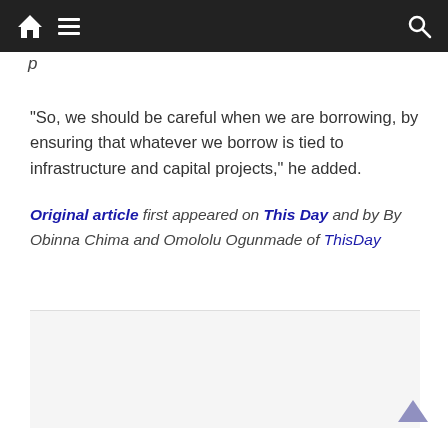Navigation bar with home, menu, and search icons
“So, we should be careful when we are borrowing, by ensuring that whatever we borrow is tied to infrastructure and capital projects,” he added.
Original article first appeared on This Day and by By Obinna Chima and Omololu Ogunmade of ThisDay
[Figure (other): Grey advertisement/placeholder box]